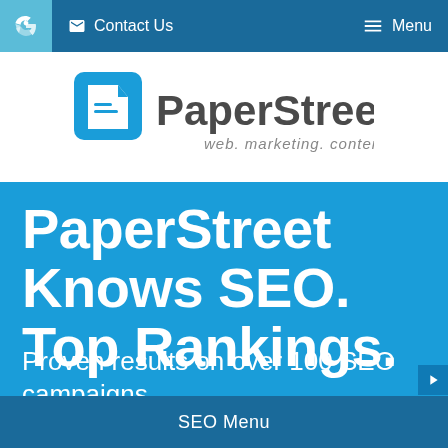Contact Us   Menu
[Figure (logo): PaperStreet logo with blue page-turn icon and tagline 'web. marketing. content.']
PaperStreet Knows SEO. Top Rankings.
Proven results on over 100 SEO campaigns.
SEO Menu